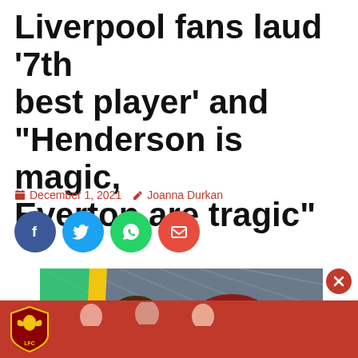Liverpool fans laud ‘7th best player’ and “Henderson is magic, Everton are tragic”
December 1, 2021   Joanna Durkan
[Figure (illustration): Four social share buttons: Facebook (dark blue circle), Twitter (light blue circle), WhatsApp (green circle), Email (red circle)]
[Figure (photo): Photo of people in Liverpool FC red kit inside a stadium with a glass roof structure visible in the background]
[Figure (logo): Liverpool FC advertisement banner with LFC liver bird badge and players in red kit]